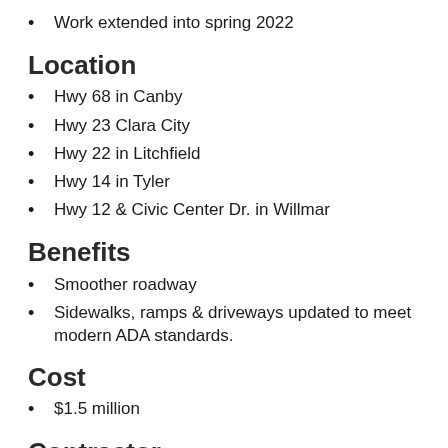Work extended into spring 2022
Location
Hwy 68 in Canby
Hwy 23 Clara City
Hwy 22 in Litchfield
Hwy 14 in Tyler
Hwy 12 & Civic Center Dr. in Willmar
Benefits
Smoother roadway
Sidewalks, ramps & driveways updated to meet modern ADA standards.
Cost
$1.5 million
Contractor
Hovland, Inc.